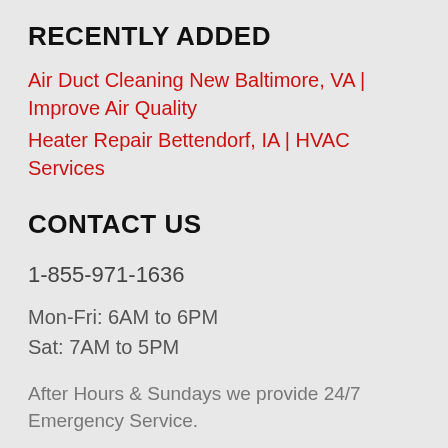RECENTLY ADDED
Air Duct Cleaning New Baltimore, VA | Improve Air Quality
Heater Repair Bettendorf, IA | HVAC Services
CONTACT US
1-855-971-1636
Mon-Fri: 6AM to 6PM
Sat: 7AM to 5PM
After Hours & Sundays we provide 24/7 Emergency Service.
WHAT DO YOU NEED?